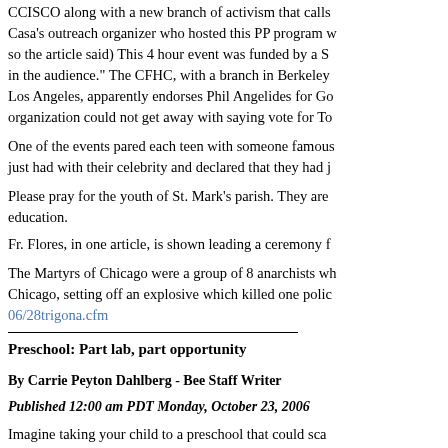CCISCO along with a new branch of activism that calls Casa's outreach organizer who hosted this PP program w so the article said)  This 4 hour event was funded by a S in the audience."  The CFHC, with  a branch in Berkeley Los Angeles, apparently endorses Phil Angelides for Go organization could not get away with saying vote for To
One of the events pared each teen with someone famous just had with their celebrity and declared that they had j
Please pray for the youth of St. Mark's parish. They are education.
Fr. Flores, in one article, is shown leading a ceremony f
The Martyrs of Chicago were a group of 8 anarchists wh Chicago, setting off an explosive which killed one polic 06/28trigona.cfm
Preschool: Part lab, part opportunity
By Carrie Peyton Dahlberg - Bee Staff Writer
Published 12:00 am PDT Monday, October 23, 2006
Imagine taking your child to a preschool that could sca help decide which teaching techniques best suit each yo That school will open next year in Sacramento's Oak Pa